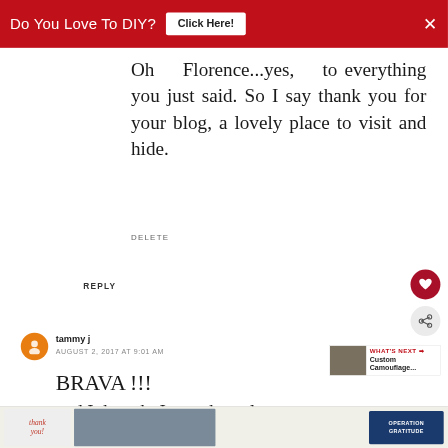[Figure (other): Red advertisement banner at top: 'Do You Love To DIY? Click Here!' with close X button]
Oh Florence...yes, to everything you just said. So I say thank you for your blog, a lovely place to visit and hide.
DELETE
REPLY
[Figure (other): Heart/like button - circular dark red button with heart icon]
[Figure (other): Share button - circular light grey button with share icon]
tammy j
AUGUST 2, 2017 AT 9:01 AM
BRAVA !!!
and I thought I was the only one
[Figure (other): What's Next promo box showing Custom Camouflage article with thumbnail image]
[Figure (other): Bottom advertisement banner with 'thank you' handwritten text, firefighter photo, and Operation Gratitude logo]